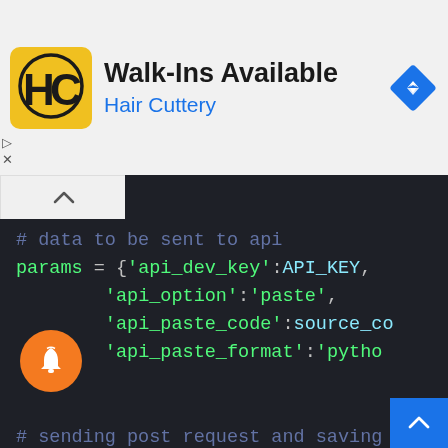[Figure (screenshot): Advertisement banner for Hair Cuttery showing logo, 'Walk-Ins Available' text, and navigation icon]
[Figure (screenshot): Code editor screenshot showing Python code with params dictionary containing api_dev_key, api_option, api_paste_code, api_paste_format keys, and a requests.post call with API_ENDPOINT, plus extracting response text with pastebin_url = r.text]